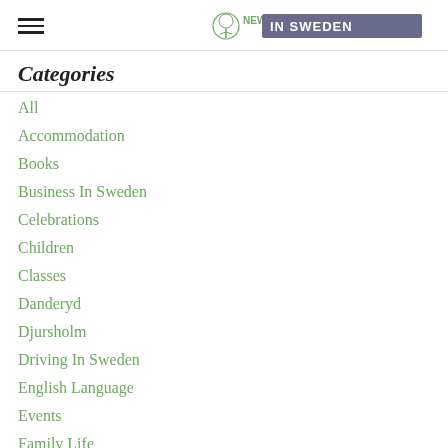NEW IN SWEDEN
Categories
All
Accommodation
Books
Business In Sweden
Celebrations
Children
Classes
Danderyd
Djursholm
Driving In Sweden
English Language
Events
Family Life
Food And Drink
Insurance
Language